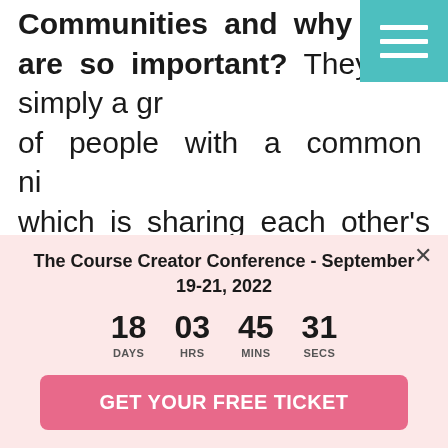Communities and why they are so important? They are simply a group of people with a common niche, which is sharing each other's content easily. Imagine you are a food blogger and you just start to use Tailwind Communities. You'd u…
The Course Creator Conference - September 19-21, 2022
18 DAYS  03 HRS  45 MINS  31 SECS
GET YOUR FREE TICKET